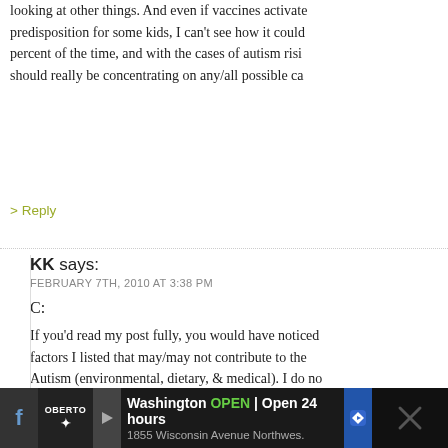looking at other things. And even if vaccines activate predisposition for some kids, I can't see how it could percent of the time, and with the cases of autism risi should really be concentrating on any/all possible ca
> Reply
KK says:
FEBRUARY 7TH, 2010 AT 3:38 PM
C:
If you'd read my post fully, you would have noticed factors I listed that may/may not contribute to the Autism (environmental, dietary, & medical). I do no parent who definitely noticed a cause/effect with t vaccine administration because that is their story. My son has Autism. Period. What caused it? I don't something contributed to it. Genetics, exposure to aforementioned factors, etc. My point was that the broadened beyond vaccines not diminished. The fo
[Figure (screenshot): Advertisement bar at bottom: Facebook icon on left, Oberto logo, Washington location open 24 hours ad with address 1855 Wisconsin Avenue Northwes., navigation arrow icon, and close X button on right.]